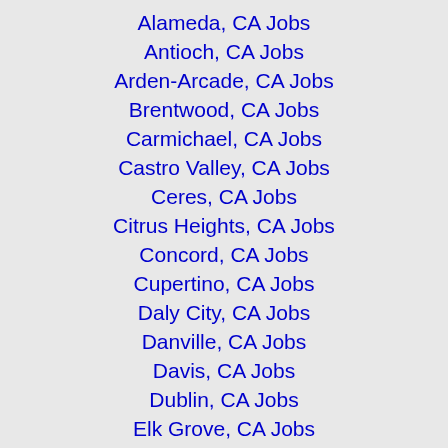Alameda, CA Jobs
Antioch, CA Jobs
Arden-Arcade, CA Jobs
Brentwood, CA Jobs
Carmichael, CA Jobs
Castro Valley, CA Jobs
Ceres, CA Jobs
Citrus Heights, CA Jobs
Concord, CA Jobs
Cupertino, CA Jobs
Daly City, CA Jobs
Danville, CA Jobs
Davis, CA Jobs
Dublin, CA Jobs
Elk Grove, CA Jobs
Fairfield, CA Jobs
Folsom, CA Jobs
Fremont, CA Jobs